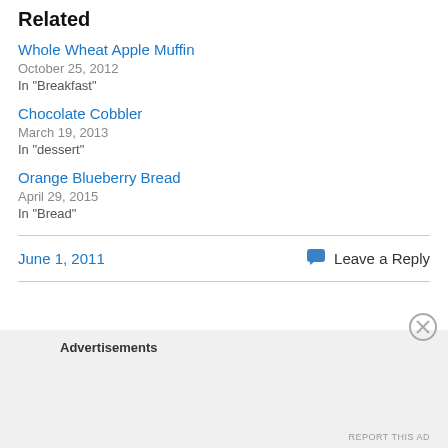Related
Whole Wheat Apple Muffin
October 25, 2012
In "Breakfast"
Chocolate Cobbler
March 19, 2013
In "dessert"
Orange Blueberry Bread
April 29, 2015
In "Bread"
June 1, 2011
Leave a Reply
Advertisements
REPORT THIS AD